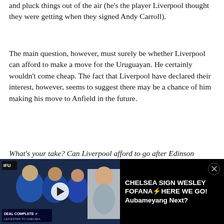and pluck things out of the air (he's the player Liverpool thought they were getting when they signed Andy Carroll).
The main question, however, must surely be whether Liverpool can afford to make a move for the Uruguayan. He certainly wouldn't come cheap. The fact that Liverpool have declared their interest, however, seems to suggest there may be a chance of him making his move to Anfield in the future.
What's your take? Can Liverpool afford to go after Edinson Cavani?
Please follow @ThePerfectPass for more football related action!
[Figure (screenshot): Video player bar showing Chelsea sign Wesley Fofana here we go! Aubameyang Next? with thumbnail of players in Chelsea kit and a presenter]